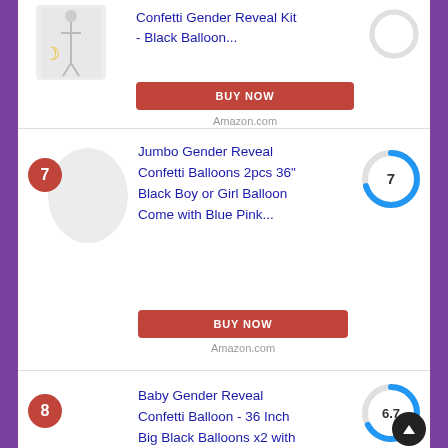Confetti Gender Reveal Kit - Black Balloon...
BUY NOW
Amazon.com
7
Jumbo Gender Reveal Confetti Balloons 2pcs 36" Black Boy or Girl Balloon Come with Blue Pink...
[Figure (other): Score donut chart showing rating 7]
BUY NOW
Amazon.com
8
Baby Gender Reveal Confetti Balloon - 36 Inch Big Black Balloons x2 with
[Figure (other): Score donut chart showing rating 6.7]